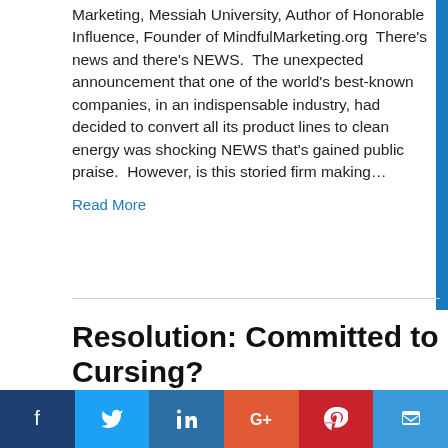Marketing, Messiah University, Author of Honorable Influence, Founder of MindfulMarketing.org  There's news and there's NEWS.  The unexpected announcement that one of the world's best-known companies, in an indispensable industry, had decided to convert all its product lines to clean energy was shocking NEWS that's gained public praise.  However, is this storied firm making...
Read More
Resolution: Committed to Cursing?
[Figure (photo): Dark textured background image, partially visible at bottom of article preview]